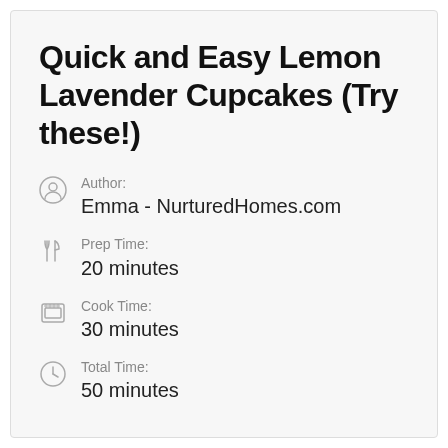Quick and Easy Lemon Lavender Cupcakes (Try these!)
Author:
Emma - NurturedHomes.com
Prep Time:
20 minutes
Cook Time:
30 minutes
Total Time:
50 minutes